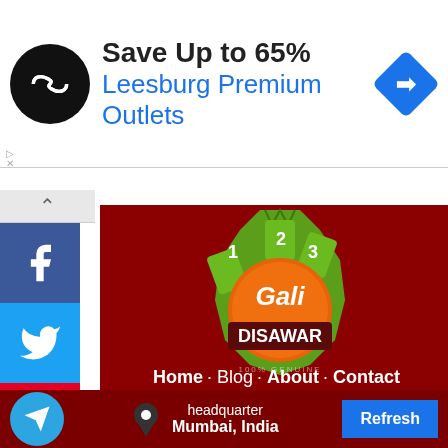[Figure (screenshot): Advertisement banner: black circular logo with infinity symbol, text 'Save Up to 65%' in bold black and 'Leesburg Premium Outlets' in blue, blue diamond arrow icon on right]
[Figure (logo): Gali Disawar logo: green gear/ticket shape with orange circle center, text 'Gali' in white and 'DISAWAR' below, '100% GENUINE' in small text]
Home · Blog · About · Contact
GALI-DISAWAR © 2022
headquarter Mumbai, India
Refresh